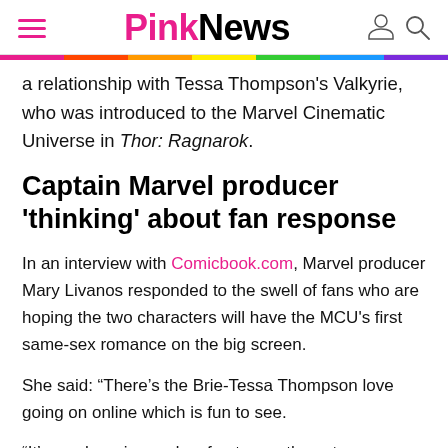PinkNews
a relationship with Tessa Thompson's Valkyrie, who was introduced to the Marvel Cinematic Universe in Thor: Ragnarok.
Captain Marvel producer 'thinking' about fan response
In an interview with Comicbook.com, Marvel producer Mary Livanos responded to the swell of fans who are hoping the two characters will have the MCU's first same-sex romance on the big screen.
She said: “There’s the Brie-Tessa Thompson love going on online which is fun to see.
“It’s so charming and so fun to see the actors